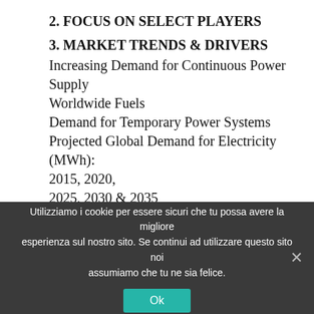2. FOCUS ON SELECT PLAYERS
3. MARKET TRENDS & DRIVERS
Increasing Demand for Continuous Power Supply Worldwide Fuels
Demand for Temporary Power Systems
Projected Global Demand for Electricity (MWh): 2015, 2020, 2025, 2030 & 2035
Global Primary Energy Consumption (Billion toe): Growth Trajectory for the Period 1990-2040
Global Energy Consumption (Billion toe) by Country/Region:
Utilizziamo i cookie per essere sicuri che tu possa avere la migliore esperienza sul nostro sito. Se continui ad utilizzare questo sito noi assumiamo che tu ne sia felice.